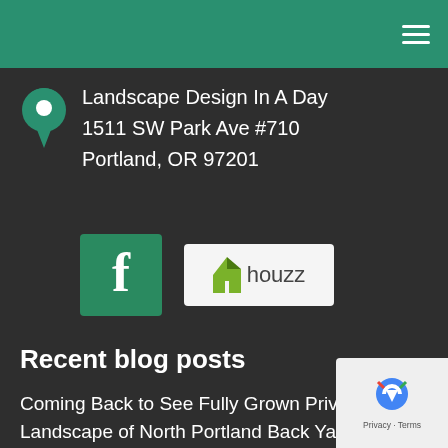Navigation header bar with hamburger menu
Landscape Design In A Day
1511 SW Park Ave #710
Portland, OR 97201
[Figure (logo): Facebook logo (white f on green background) and Houzz logo (green chevron/arrow with 'houzz' text on white background)]
Recent blog posts
Coming Back to See Fully Grown Privacy Landscape of North Portland Back Yard
NE Portland Gardens with Outdoor Living Landscape Design
[Figure (logo): reCAPTCHA logo with Privacy and Terms text]